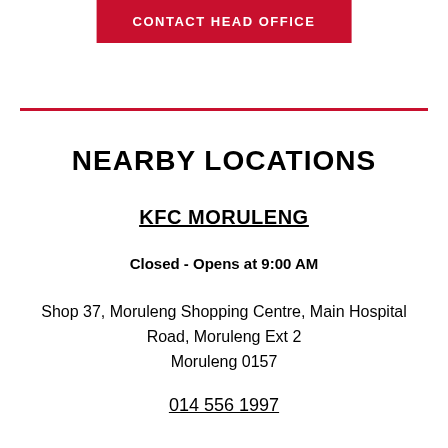CONTACT HEAD OFFICE
NEARBY LOCATIONS
KFC MORULENG
Closed - Opens at 9:00 AM
Shop 37, Moruleng Shopping Centre, Main Hospital Road, Moruleng Ext 2 Moruleng 0157
014 556 1997